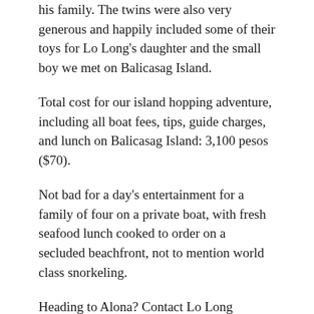his family. The twins were also very generous and happily included some of their toys for Lo Long's daughter and the small boy we met on Balicasag Island.
Total cost for our island hopping adventure, including all boat fees, tips, guide charges, and lunch on Balicasag Island: 3,100 pesos ($70).
Not bad for a day's entertainment for a family of four on a private boat, with fresh seafood lunch cooked to order on a secluded beachfront, not to mention world class snorkeling.
Heading to Alona? Contact Lo Long directly at +63 938 283 0339.
Follow our adventure!
No spam, just family travel updates direct from us to your